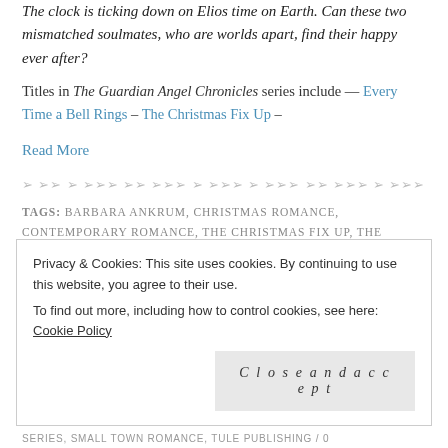The clock is ticking down on Elios time on Earth. Can these two mismatched soulmates, who are worlds apart, find their happy ever after?
Titles in The Guardian Angel Chronicles series include — Every Time a Bell Rings – The Christmas Fix Up –
Read More
TAGS: BARBARA ANKRUM, CHRISTMAS ROMANCE, CONTEMPORARY ROMANCE, THE CHRISTMAS FIX UP, THE GUARDIAN ANGEL CHRONICLES #2
Privacy & Cookies: This site uses cookies. By continuing to use this website, you agree to their use. To find out more, including how to control cookies, see here: Cookie Policy
Close and accept
SERIES, SMALL TOWN ROMANCE, TULE PUBLISHING / 0